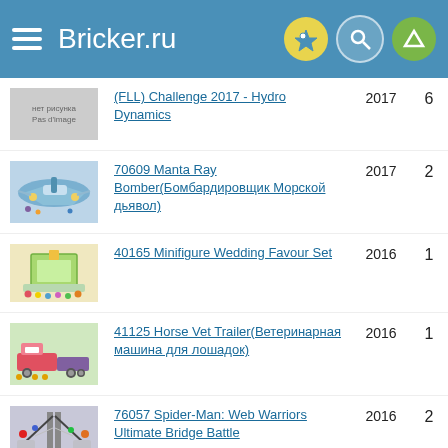Bricker.ru
(FLL) Challenge 2017 - Hydro Dynamics | 2017 | 6
70609 Manta Ray Bomber(Бомбардировщик Морской дьявол) | 2017 | 2
40165 Minifigure Wedding Favour Set | 2016 | 1
41125 Horse Vet Trailer(Ветеринарная машина для лошадок) | 2016 | 1
76057 Spider-Man: Web Warriors Ultimate Bridge Battle | 2016 | 2
40156 Organiser | 2015 | 2
41062 Elsa's Sparkling Ice...